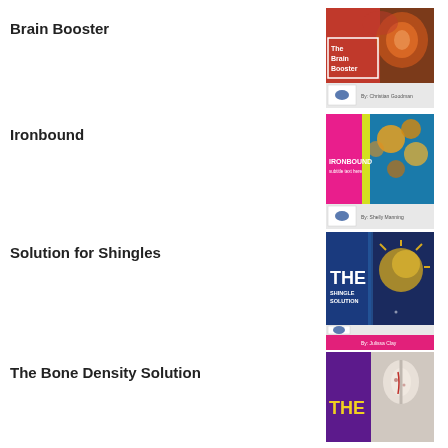Brain Booster
[Figure (illustration): Book cover for 'The Brain Booster' by Christian Goodman. Dark background with a glowing brain image, red and orange tones, white text overlay, and a small publisher logo at the bottom left.]
Ironbound
[Figure (illustration): Book cover for 'Ironbound'. Pink/magenta and blue color scheme with microscopic virus/cell imagery. Publisher logo at bottom left, author name at bottom right.]
Solution for Shingles
[Figure (illustration): Book cover for 'The Shingle Solution' by Julissa Clay. Dark navy blue background with virus/shingles imagery. Large 'THE' text and 'SHINGLE SOLUTION' in white, publisher logo at bottom left, pink footer band.]
The Bone Density Solution
[Figure (illustration): Book cover for 'The Bone Density Solution'. Purple background with bone imagery. Large 'THE' text in yellow, partial view.]